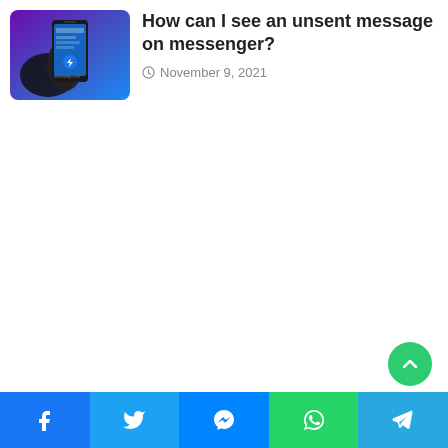[Figure (photo): Thumbnail image of a hand holding a smartphone showing Facebook Messenger app, purple and blue background]
How can I see an unsent message on messenger?
November 9, 2021
[Figure (other): Green circular scroll-to-top button with white chevron/arrow icon]
[Figure (other): Social share bar at bottom with Facebook, Twitter, Messenger, WhatsApp, and Telegram icons]